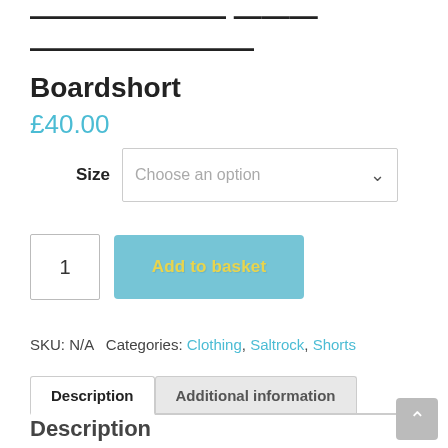Boardshort
£40.00
Size  Choose an option
1  Add to basket
SKU: N/A  Categories: Clothing, Saltrock, Shorts
Description  Additional information
Description